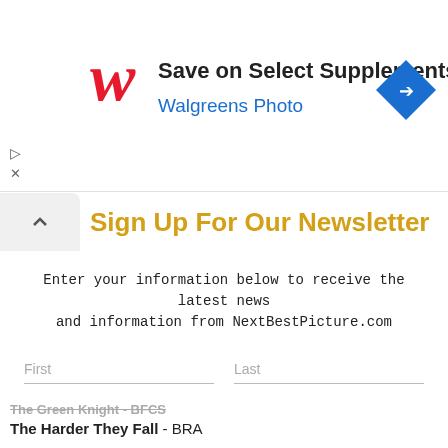[Figure (logo): Walgreens advertisement banner with Walgreens cursive W logo, text 'Save on Select Supplements' and 'Walgreens Photo', and a blue diamond-shaped navigation arrow icon]
Sign Up For Our Newsletter
Enter your information below to receive the latest news and information from NextBestPicture.com
First | Last fields and Email Address field with Subscribe button
The Green Knight - BFCS
The Harder They Fall - BRA